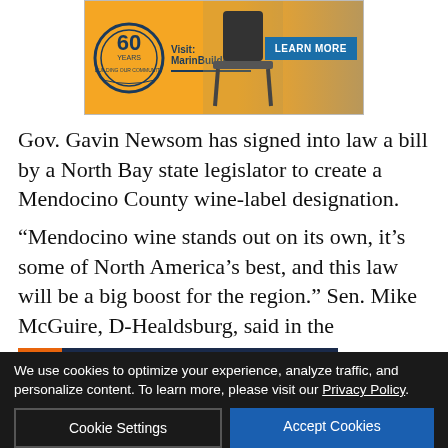[Figure (illustration): Advertisement banner for MarinBuilders.com showing '60 Years Building Our Community' badge, chairs, and 'LEARN MORE' button on orange background]
Gov. Gavin Newsom has signed into law a bill by a North Bay state legislator to create a Mendocino County wine-label designation.
“Mendocino wine stands out on its own, it’s some of North America’s best, and this law will be a big boost for the region.” Sen. Mike McGuire, D-Healdsburg, said in the ann                                                         ng
[Figure (illustration): Exchange Bank advertisement: 'Helping your business grow.' with EB logo, Member FDIC badge on dark navy background]
We use cookies to optimize your experience, analyze traffic, and personalize content. To learn more, please visit our Privacy Policy.
Cookie Settings
Accept Cookies